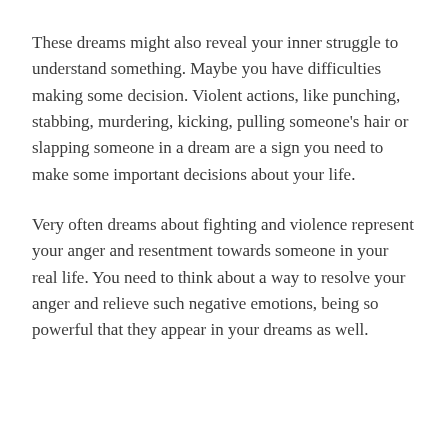These dreams might also reveal your inner struggle to understand something. Maybe you have difficulties making some decision. Violent actions, like punching, stabbing, murdering, kicking, pulling someone's hair or slapping someone in a dream are a sign you need to make some important decisions about your life.
Very often dreams about fighting and violence represent your anger and resentment towards someone in your real life. You need to think about a way to resolve your anger and relieve such negative emotions, being so powerful that they appear in your dreams as well.